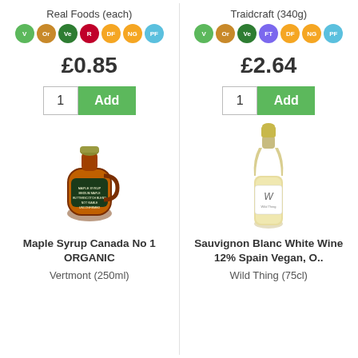Real Foods (each)
[Figure (infographic): Badges: V (green), Or (brown), Ve (dark green), R (red), DF (orange), NG (orange), PF (blue)]
£0.85
1 | Add
[Figure (photo): Bottle of Maple Syrup Canada No 1 Organic by Vertmont 250ml]
Maple Syrup Canada No 1 ORGANIC
Vertmont (250ml)
Traidcraft (340g)
[Figure (infographic): Badges: V (green), Or (brown), Ve (dark green), FT (purple), DF (orange), NG (orange), PF (blue)]
£2.64
1 | Add
[Figure (photo): Bottle of Sauvignon Blanc White Wine 12% Spain Vegan, O.. by Wild Thing (75cl)]
Sauvignon Blanc White Wine 12% Spain Vegan, O..
Wild Thing (75cl)